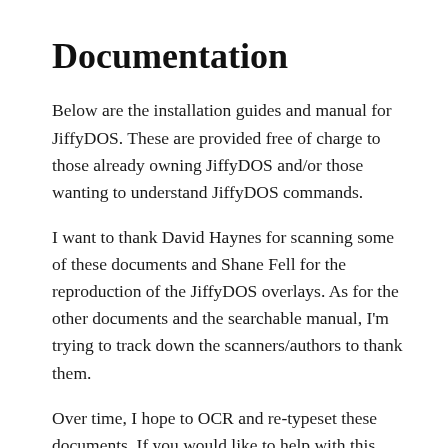Documentation
Below are the installation guides and manual for JiffyDOS. These are provided free of charge to those already owning JiffyDOS and/or those wanting to understand JiffyDOS commands.
I want to thank David Haynes for scanning some of these documents and Shane Fell for the reproduction of the JiffyDOS overlays. As for the other documents and the searchable manual, I’m trying to track down the scanners/authors to thank them.
Over time, I hope to OCR and re-typeset these documents. If you would like to help with this effort, please let me know. As well, the list of